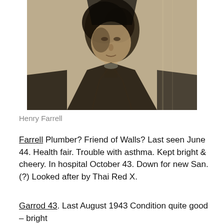[Figure (photo): Black and white photograph of Henry Farrell, a man in dark clothing, portrait style, grainy halftone print]
Henry Farrell
Farrell Plumber? Friend of Walls? Last seen June 44. Health fair. Trouble with asthma. Kept bright & cheery. In hospital October 43. Down for new San. (?) Looked after by Thai Red X.
Garrod 43. Last August 1943 Condition quite good – bright